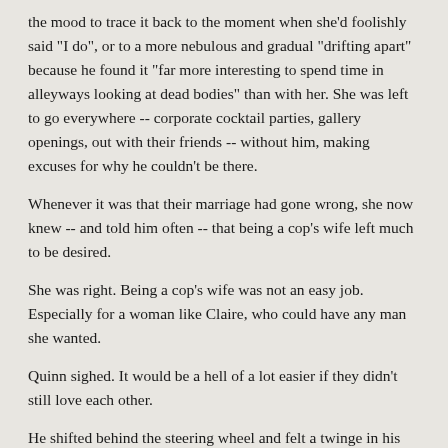the mood to trace it back to the moment when she'd foolishly said "I do", or to a more nebulous and gradual "drifting apart" because he found it "far more interesting to spend time in alleyways looking at dead bodies" than with her. She was left to go everywhere -- corporate cocktail parties, gallery openings, out with their friends -- without him, making excuses for why he couldn't be there.
Whenever it was that their marriage had gone wrong, she now knew -- and told him often -- that being a cop's wife left much to be desired.
She was right. Being a cop's wife was not an easy job. Especially for a woman like Claire, who could have any man she wanted.
Quinn sighed. It would be a hell of a lot easier if they didn't still love each other.
He shifted behind the steering wheel and felt a twinge in his midsection. He sucked in his breath. "You worked out last night." He said the words out loud, trying to focus on them. "You're sore from the damn workout."
No good. Sweat broke out on his forehead. He fumbled for the door handle and staggered out of the car. He held onto the hood of the